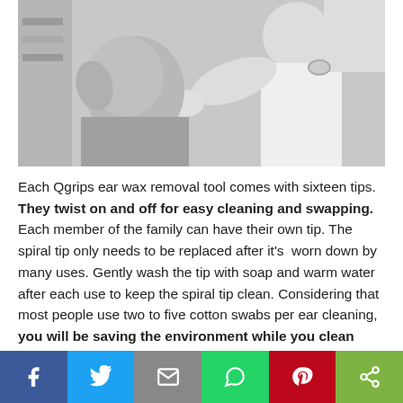[Figure (photo): Black and white photo of a doctor or medical professional examining a patient's ear, patient holding their head, medical gloves visible]
Each Qgrips ear wax removal tool comes with sixteen tips. They twist on and off for easy cleaning and swapping. Each member of the family can have their own tip. The spiral tip only needs to be replaced after it's worn down by many uses. Gently wash the tip with soap and warm water after each use to keep the spiral tip clean. Considering that most people use two to five cotton swabs per ear cleaning, you will be saving the environment while you clean your ears! The Qgrips ear wax removal tool produces much less waste because the silicone tip is reusable, unlike cotton swabs.
[Figure (infographic): Social media share bar with Facebook, Twitter, Email, WhatsApp, Pinterest, and share buttons]